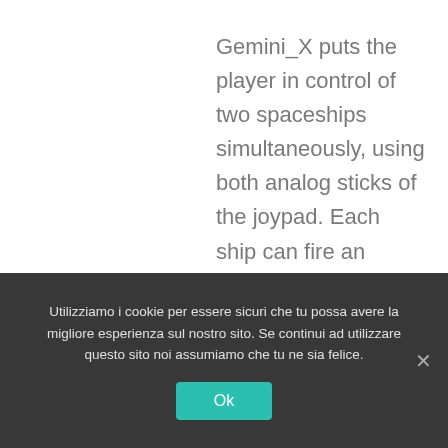Gemini_X puts the player in control of two spaceships simultaneously, using both analog sticks of the joypad. Each ship can fire an energy beam towards the other one, creating a barrier able to
Utilizziamo i cookie per essere sicuri che tu possa avere la migliore esperienza sul nostro sito. Se continui ad utilizzare questo sito noi assumiamo che tu ne sia felice.
Ok